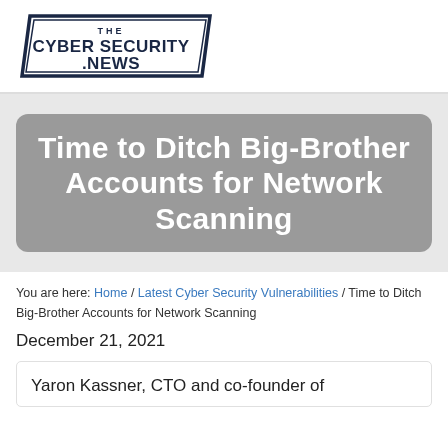[Figure (logo): The Cyber Security News logo — parallelogram-shaped banner with bold text 'THE CYBERSECURITY.NEWS' in dark navy]
Time to Ditch Big-Brother Accounts for Network Scanning
You are here: Home / Latest Cyber Security Vulnerabilities / Time to Ditch Big-Brother Accounts for Network Scanning
December 21, 2021
Yaron Kassner, CTO and co-founder of